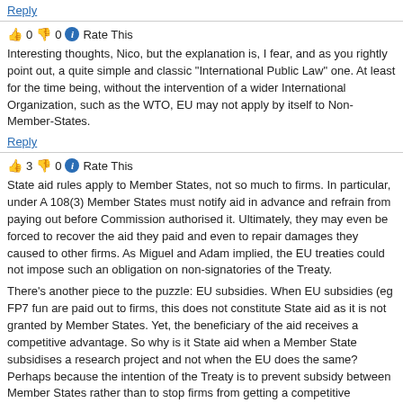Reply
👍 0 👎 0 ℹ Rate This
Interesting thoughts, Nico, but the explanation is, I fear, and as you rightly point out, a quite simple and classic "International Public Law" one. At least for the time being, without the intervention of a wider International Organization, such as the WTO, EU may not apply by itself to Non-Member-States.
Reply
👍 3 👎 0 ℹ Rate This
State aid rules apply to Member States, not so much to firms. In particular, under A 108(3) Member States must notify aid in advance and refrain from paying out before Commission authorised it. Ultimately, they may even be forced to recover the aid they paid and even to repair damages they caused to other firms. As Miguel and Adam implied, the EU treaties could not impose such an obligation on non-signatories of the Treaty.
There's another piece to the puzzle: EU subsidies. When EU subsidies (eg FP7 fun are paid out to firms, this does not constitute State aid as it is not granted by Member States. Yet, the beneficiary of the aid receives a competitive advantage. So why is it State aid when a Member State subsidises a research project and not when the EU does the same? Perhaps because the intention of the Treaty is to prevent subsidy between Member States rather than to stop firms from getting a competitive advantage through State funding.